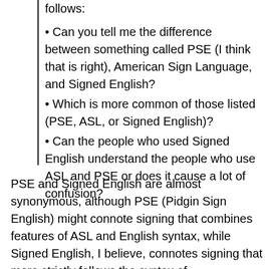follows:
• Can you tell me the difference between something called PSE (I think that is right), American Sign Language, and Signed English?
• Which is more common of those listed (PSE, ASL, or Signed English)?
• Can the people who used Signed English understand the people who use ASL and PSE or does it cause a lot of confusion?
PSE and Signed English are almost synonymous, although PSE (Pidgin Sign English) might connote signing that combines features of ASL and English syntax, while Signed English, I believe, connotes signing that more strictly follows the syntax of